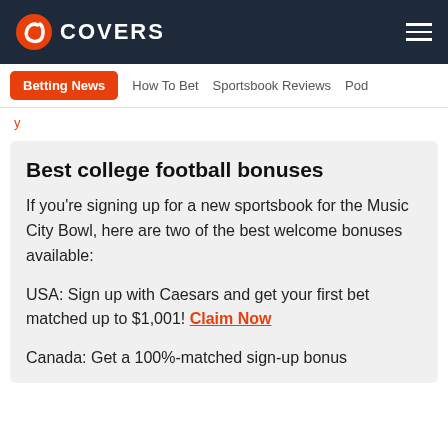COVERS
Betting News | How To Bet | Sportsbook Reviews | Pod
y
Best college football bonuses
If you're signing up for a new sportsbook for the Music City Bowl, here are two of the best welcome bonuses available:
USA: Sign up with Caesars and get your first bet matched up to $1,001! Claim Now
Canada: Get a 100%-matched sign-up bonus